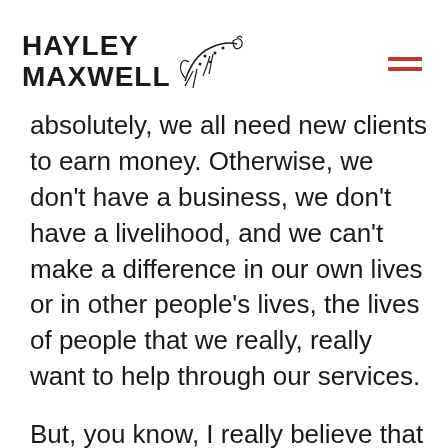HAYLEY MAXWELL
absolutely, we all need new clients to earn money. Otherwise, we don't have a business, we don't have a livelihood, and we can't make a difference in our own lives or in other people's lives, the lives of people that we really, really want to help through our services.

But, you know, I really believe that the sterile language that we're using can make us forget that